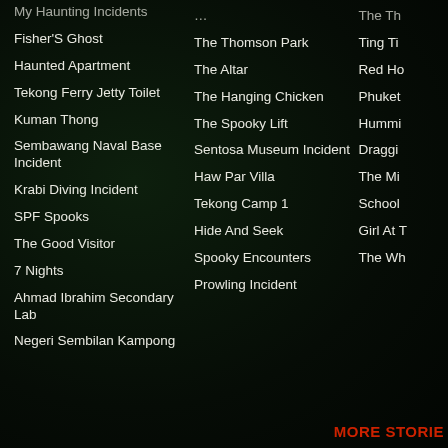My Haunting Incidents
Fisher'S Ghost
Haunted Apartment
Tekong Ferry Jetty Toilet
Kuman Thong
Sembawang Naval Base Incident
Krabi Diving Incident
SPF Spooks
The Good Visitor
7 Nights
Ahmad Ibrahim Secondary Lab
Negeri Sembilan Kampong
The Thomson Park
The Altar
The Hanging Chicken
The Spooky Lift
Sentosa Museum Incident
Haw Par Villa
Tekong Camp 1
Hide And Seek
Spooky Encounters
Prowling Incident
The Th…
Ting Ti…
Red Ho…
Phuket…
Hummi…
Draggi…
The Mi…
School…
Girl At T…
The Wh…
MORE STORIES